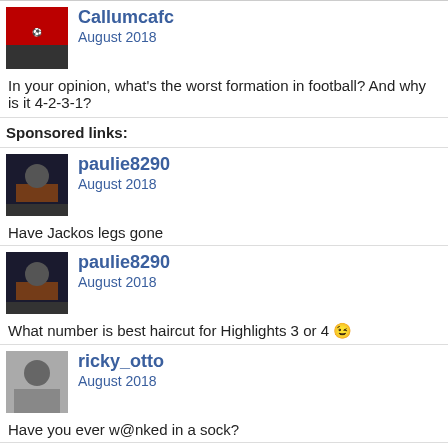[Figure (photo): Avatar of Callumcafc - sports team photo in red jerseys]
Callumcafc
August 2018
In your opinion, what's the worst formation in football? And why is it 4-2-3-1?
Sponsored links:
[Figure (photo): Avatar of paulie8290 - person at podium/panel]
paulie8290
August 2018
Have Jackos legs gone
[Figure (photo): Avatar of paulie8290 - person at podium/panel]
paulie8290
August 2018
What number is best haircut for Highlights 3 or 4 😉
[Figure (photo): Avatar of ricky_otto - black and white photo]
ricky_otto
August 2018
Have you ever w@nked in a sock?
[Figure (photo): Avatar of Raith_C_Chattonell - partial view]
Raith_C_Chattonell